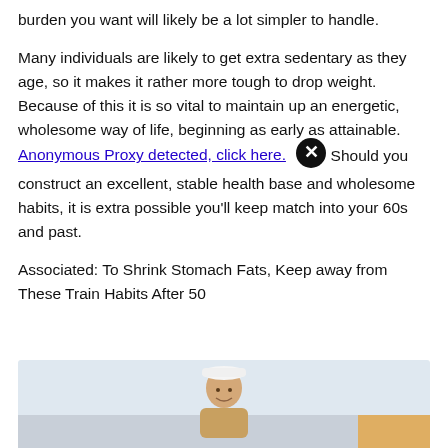burden you want will likely be a lot simpler to handle.
Many individuals are likely to get extra sedentary as they age, so it makes it rather more tough to drop weight. Because of this it is so vital to maintain up an energetic, wholesome way of life, beginning as early as attainable. Should you construct an excellent, stable health base and wholesome habits, it is extra possible you’ll keep match into your 60s and past.
Anonymous Proxy detected, click here.
Associated: To Shrink Stomach Fats, Keep away from These Train Habits After 50
[Figure (photo): An older man wearing a white cap, smiling outdoors, partial figure visible at bottom of page]